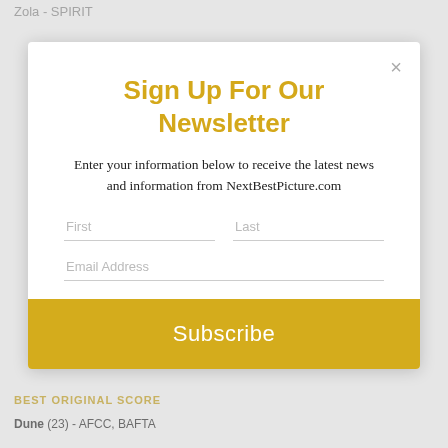Zola - SPIRIT
[Figure (screenshot): Newsletter sign-up modal overlay with title 'Sign Up For Our Newsletter', subtitle text, First/Last name fields, Email Address field, and a yellow Subscribe button with a close X button in the top right corner]
BEST ORIGINAL SCORE
Dune (23) - AFCC, BAFTA